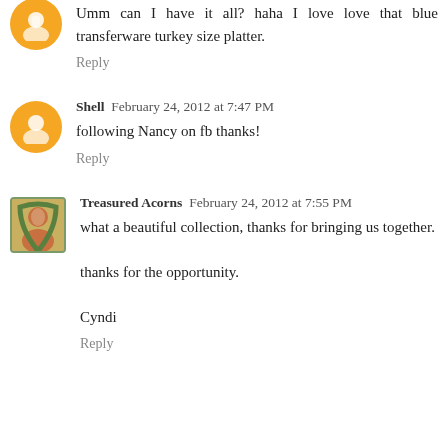[Figure (illustration): Orange Blogger avatar icon (partial, top of page)]
Umm can I have it all? haha I love love that blue transferware turkey size platter.
Reply
[Figure (illustration): Orange Blogger avatar icon]
Shell  February 24, 2012 at 7:47 PM
following Nancy on fb thanks!
Reply
[Figure (photo): Treasured Acorns avatar - small square image of a person with green wreath border]
Treasured Acorns  February 24, 2012 at 7:55 PM
what a beautiful collection, thanks for bringing us together.

thanks for the opportunity.

Cyndi
Reply